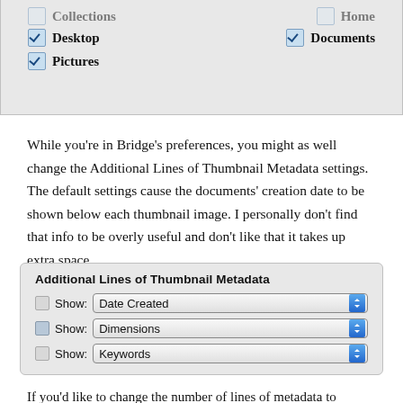[Figure (screenshot): Partial screenshot of Bridge preferences panel showing checkboxes for Collections (partially visible), Desktop (checked), Documents (checked), Pictures (checked)]
While you’re in Bridge’s preferences, you might as well change the Additional Lines of Thumbnail Metadata settings. The default settings cause the documents’ creation date to be shown below each thumbnail image. I personally don’t find that info to be overly useful and don’t like that it takes up extra space.
[Figure (screenshot): Screenshot of 'Additional Lines of Thumbnail Metadata' panel with three Show dropdowns for Date Created, Dimensions, and Keywords, all unchecked.]
If you’d like to change the number of lines of metadata to